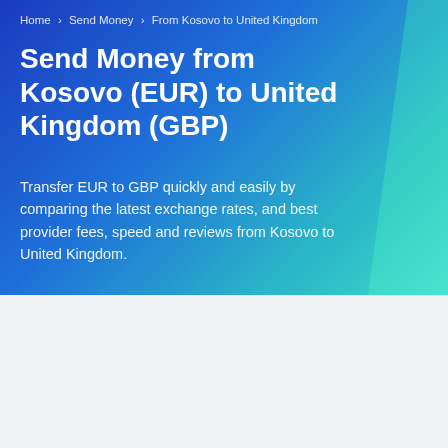Home > Send Money > From Kosovo to United Kingdom
Send Money from Kosovo (EUR) to United Kingdom (GBP)
Transfer EUR to GBP quickly and easily by comparing the latest exchange rates, and best provider fees, speed and reviews from Kosovo to United Kingdom.
| Amount | EUR | GBP |
| --- | --- | --- |
| 2000 | EUR ▾ | GBP ▾ |
Top Provider
Amount Received